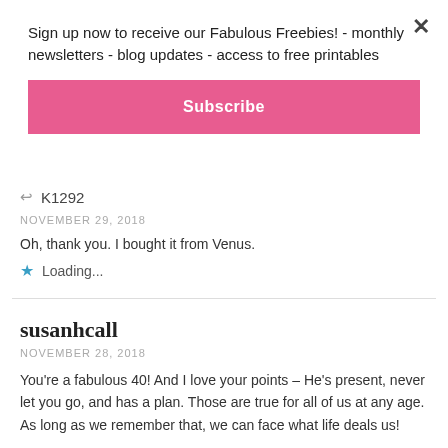Sign up now to receive our Fabulous Freebies! - monthly newsletters - blog updates - access to free printables
Subscribe
K1292
NOVEMBER 29, 2018
Oh, thank you. I bought it from Venus.
Loading...
susanhcall
NOVEMBER 28, 2018
You're a fabulous 40! And I love your points – He's present, never let you go, and has a plan. Those are true for all of us at any age. As long as we remember that, we can face what life deals us!